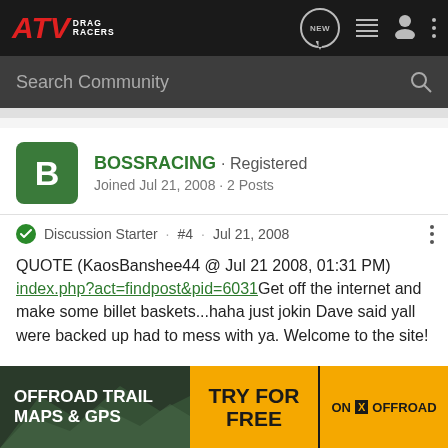ATV DRAG RACERS
Search Community
BOSSRACING · Registered
Joined Jul 21, 2008 · 2 Posts
Discussion Starter · #4 · Jul 21, 2008
QUOTE (KaosBanshee44 @ Jul 21 2008, 01:31 PM)
index.php?act=findpost&pid=6031Get off the internet and make some billet baskets...haha just jokin Dave said yall were backed up had to mess with ya. Welcome to the site!
haha ya its been a pretty crazy month for me
[Figure (infographic): Advertisement banner: OFFROAD TRAIL MAPS & GPS - TRY FOR FREE - ON X OFFROAD]